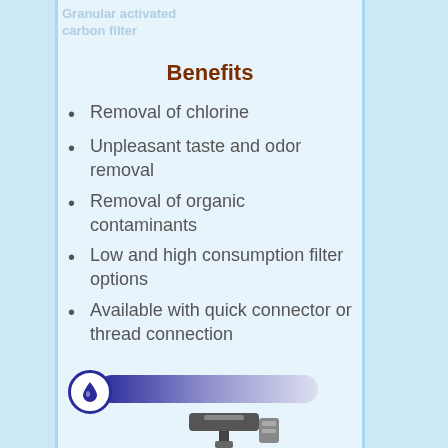Granular activated carbon filter
Benefits
Removal of chlorine
Unpleasant taste and odor removal
Removal of organic contaminants
Low and high consumption filter options
Available with quick connector or thread connection
[Figure (infographic): A horizontal gradient bar from dark blue to light purple/white, with a white circle containing a blue water drop icon on the left end.]